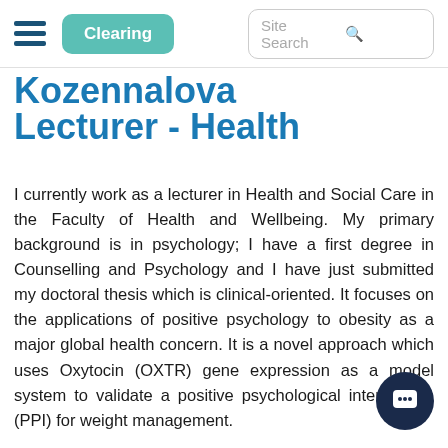Clearing | Site Search
Kozennalova Lecturer - Health
I currently work as a lecturer in Health and Social Care in the Faculty of Health and Wellbeing. My primary background is in psychology; I have a first degree in Counselling and Psychology and I have just submitted my doctoral thesis which is clinical-oriented. It focuses on the applications of positive psychology to obesity as a major global health concern. It is a novel approach which uses Oxytocin (OXTR) gene expression as a model system to validate a positive psychological intervention (PPI) for weight management.
I have three years of teaching and research experience in the UK HE sector and an additional four years of lecturing experience in a non-governmental sector